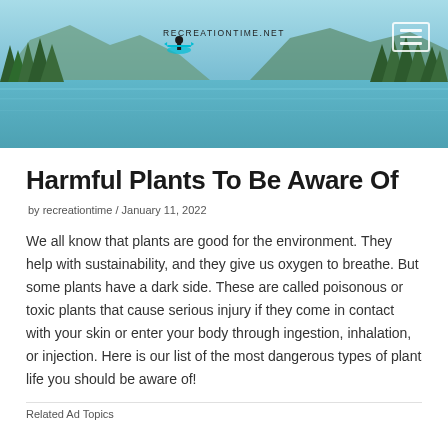[Figure (photo): Website header banner with a scenic mountain lake surrounded by pine trees and mountains in the background. RecreationTime.net logo with kayaker icon centered in the banner. Hamburger menu button in top-right corner.]
Harmful Plants To Be Aware Of
by recreationtime / January 11, 2022
We all know that plants are good for the environment. They help with sustainability, and they give us oxygen to breathe. But some plants have a dark side. These are called poisonous or toxic plants that cause serious injury if they come in contact with your skin or enter your body through ingestion, inhalation, or injection. Here is our list of the most dangerous types of plant life you should be aware of!
Related Ad Topics